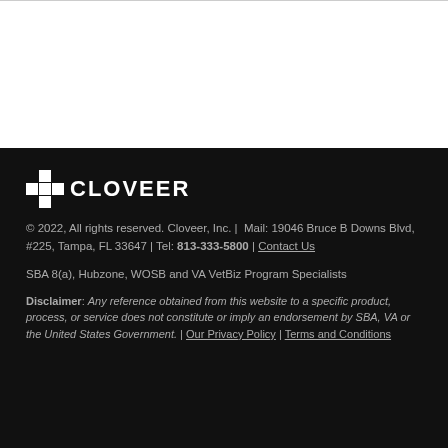[Figure (logo): Cloveer logo: cross/plus icon followed by 'CLOVEER' text in white on dark background]
© 2022, All rights reserved. Cloveer, Inc. | Mail: 19046 Bruce B Downs Blvd, #225, Tampa, FL 33647 | Tel: 813-333-5800 | Contact Us
SBA 8(a), Hubzone, WOSB and VA VetBiz Program Specialists
Disclaimer: Any reference obtained from this website to a specific product, process, or service does not constitute or imply an endorsement by SBA, VA or the United States Government. | Our Privacy Policy | Terms and Conditions